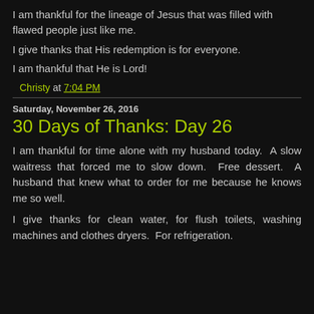I am thankful for the lineage of Jesus that was filled with flawed people just like me.
I give thanks that His redemption is for everyone.
I am thankful that He is Lord!
Christy at 7:04 PM
Saturday, November 26, 2016
30 Days of Thanks: Day 26
I am thankful for time alone with my husband today.  A slow waitress that forced me to slow down.  Free dessert.  A husband that knew what to order for me because he knows me so well.
I give thanks for clean water, for flush toilets, washing machines and clothes dryers.  For refrigeration.